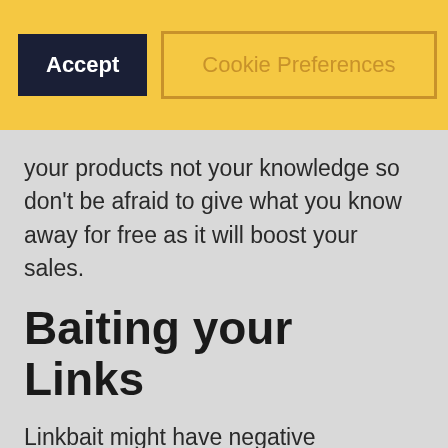[Figure (screenshot): Cookie consent banner with yellow background containing an Accept button (dark navy), a Cookie Preferences button (outlined in gold/amber), and a close X button (outlined in dark).]
your products not your knowledge so don’t be afraid to give what you know away for free as it will boost your sales.
Baiting your Links
Linkbait might have negative connotations in the world of SEO but it is a perfectly legitimate tactic and one that can seriously improve traffic to